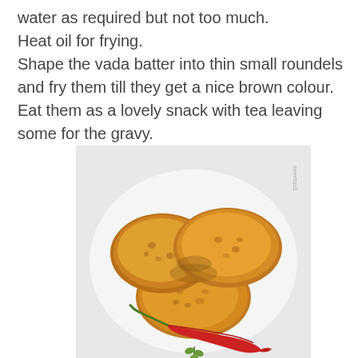water as required but not too much.
Heat oil for frying.
Shape the vada batter into thin small roundels and fry them till they get a nice brown colour.
Eat them as a lovely snack with tea leaving some for the gravy.
[Figure (photo): Three golden-brown fried vada patties stacked together on a white surface, with a dried red chilli pepper and a small herb sprig placed beside them.]